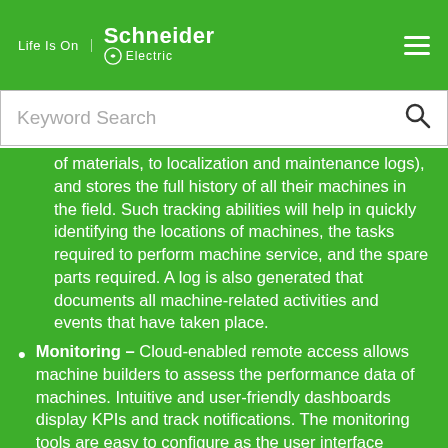Life Is On | Schneider Electric
Keyword Search
of materials, to localization and maintenance logs), and stores the full history of all their machines in the field. Such tracking abilities will help in quickly identifying the locations of machines, the tasks required to perform machine service, and the spare parts required. A log is also generated that documents all machine-related activities and events that have taken place.
Monitoring – Cloud-enabled remote access allows machine builders to assess the performance data of machines. Intuitive and user-friendly dashboards display KPIs and track notifications. The monitoring tools are easy to configure as the user interface provides time-saving widgets (graphical user interfaces that display easy ways for a user to interact with the application).
Fixing – Any repairs to a machine are accelerated through mobile services that facilitate maintenance operations at end user sites through augmented reality applications. Graphical images of step-by-step procedures appear on